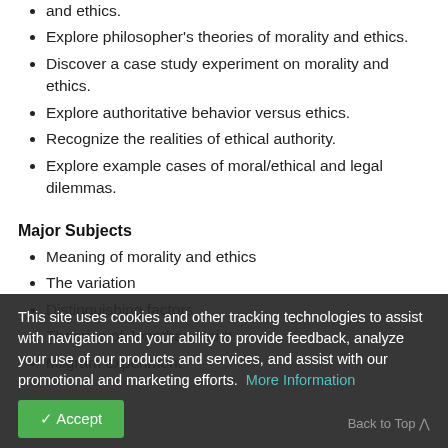and ethics.
Explore philosopher's theories of morality and ethics.
Discover a case study experiment on morality and ethics.
Explore authoritative behavior versus ethics.
Recognize the realities of ethical authority.
Explore example cases of moral/ethical and legal dilemmas.
Major Subjects
Meaning of morality and ethics
The variation
Distinguishing factors
Theories of Jonathan Haidt
Milgram experiment
This site uses cookies and other tracking technologies to assist with navigation and your ability to provide feedback, analyze your use of our products and services, and assist with our promotional and marketing efforts.  More Information
Accept
Back to Top